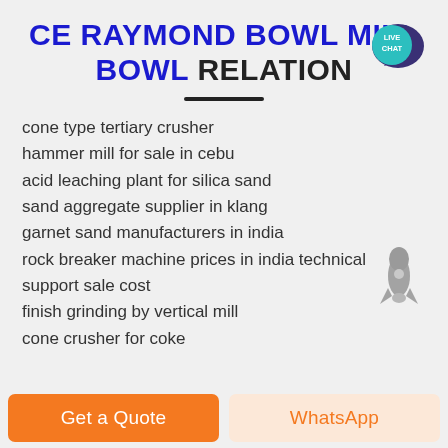CE RAYMOND BOWL MILL BOWL RELATION
[Figure (illustration): Live Chat speech bubble badge with teal background and white text reading LIVE CHAT]
cone type tertiary crusher
hammer mill for sale in cebu
acid leaching plant for silica sand
sand aggregate supplier in klang
garnet sand manufacturers in india
rock breaker machine prices in india technical support sale cost
finish grinding by vertical mill
cone crusher for coke
[Figure (illustration): Rocket ship icon in dark gray]
Get a Quote
WhatsApp